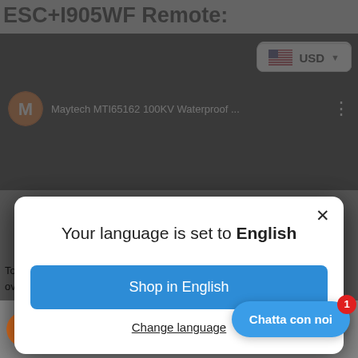ESC+1905WF Remote:
[Figure (screenshot): USD currency selector button with US flag icon and dropdown arrow]
Maytech MTI65162 100KV Waterproof ...
[Figure (screenshot): Language selection modal dialog: 'Your language is set to English' with 'Shop in English' button and 'Change language' link]
To make sure the waterproof, we've tested the over 12 hours before released:
[Figure (screenshot): Chatta con noi chat button with red badge showing '1']